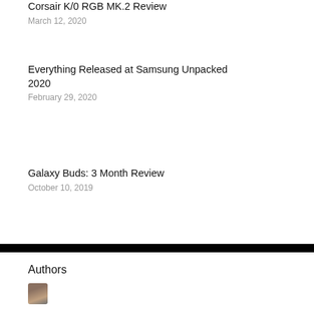Corsair K/0 RGB MK.2 Review
March 12, 2020
Everything Released at Samsung Unpacked 2020
February 29, 2020
Galaxy Buds: 3 Month Review
October 10, 2019
Authors
[Figure (photo): Author avatar photo, partially cropped at bottom of page]